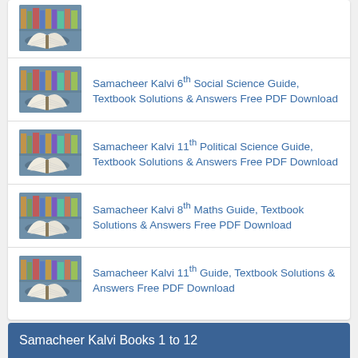[Figure (photo): Stack of books near bookshelf - partial item at top]
Samacheer Kalvi 6th Social Science Guide, Textbook Solutions & Answers Free PDF Download
Samacheer Kalvi 11th Political Science Guide, Textbook Solutions & Answers Free PDF Download
Samacheer Kalvi 8th Maths Guide, Textbook Solutions & Answers Free PDF Download
Samacheer Kalvi 11th Guide, Textbook Solutions & Answers Free PDF Download
Samacheer Kalvi Books 1 to 12